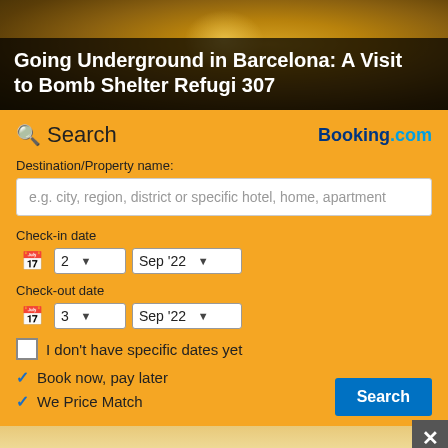[Figure (photo): Golden/bronze metallic cave or underground tunnel background photo used as hero image]
Going Underground in Barcelona: A Visit to Bomb Shelter Refugi 307
[Figure (screenshot): Booking.com search widget on yellow/orange background with search fields for destination, check-in date (2 Sep '22), check-out date (3 Sep '22), checkbox for no specific dates, checkmarks for Book now pay later and We Price Match, and a Search button]